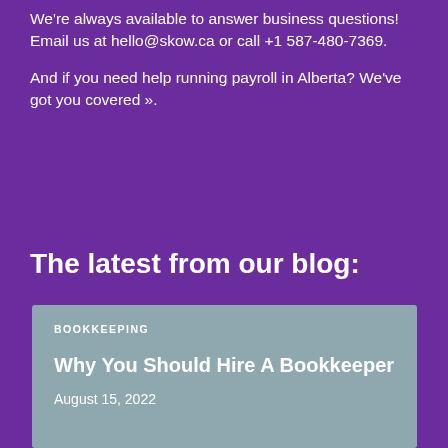We're always available to answer business questions! Email us at hello@skow.ca or call +1 587-480-7369.
And if you need help running payroll in Alberta? We've got you covered ».
The latest from our blog:
BOOKKEEPING
Why You Should Hire A Bookkeeper
August 15, 2022